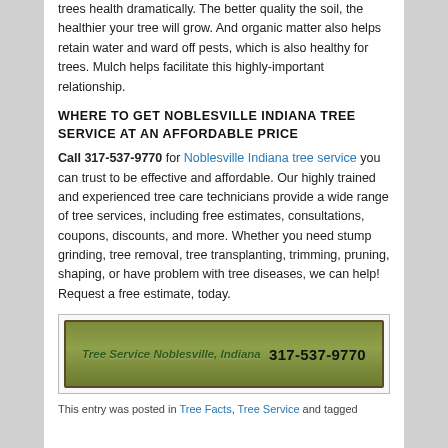trees health dramatically. The better quality the soil, the healthier your tree will grow. And organic matter also helps retain water and ward off pests, which is also healthy for trees. Mulch helps facilitate this highly-important relationship.
WHERE TO GET NOBLESVILLE INDIANA TREE SERVICE AT AN AFFORDABLE PRICE
Call 317-537-9770 for Noblesville Indiana tree service you can trust to be effective and affordable. Our highly trained and experienced tree care technicians provide a wide range of tree services, including free estimates, consultations, coupons, discounts, and more. Whether you need stump grinding, tree removal, tree transplanting, trimming, pruning, shaping, or have problem with tree diseases, we can help! Request a free estimate, today.
[Figure (infographic): Green banner image with text: Tree Service Noblesville, Indiana  317-537-9770]
This entry was posted in Tree Facts, Tree Service and tagged